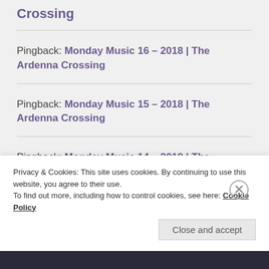Crossing
Pingback: Monday Music 16 – 2018 | The Ardenna Crossing
Pingback: Monday Music 15 – 2018 | The Ardenna Crossing
Pingback: Monday Music 14 – 2018 | The Ardenna
Privacy & Cookies: This site uses cookies. By continuing to use this website, you agree to their use.
To find out more, including how to control cookies, see here: Cookie Policy
Close and accept